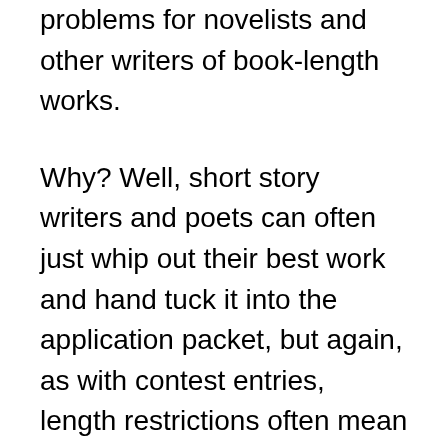problems for novelists and other writers of book-length works.
Why? Well, short story writers and poets can often just whip out their best work and hand tuck it into the application packet, but again, as with contest entries, length restrictions often mean sending in a fragment, rather than an entire chapter.
Also, often (but not always, natch; read and re-read the rules until you're blue in the face to be sure), writers of longer works will be expected to fit a synopsis of the book in question into the few pages specified by the rules, so not